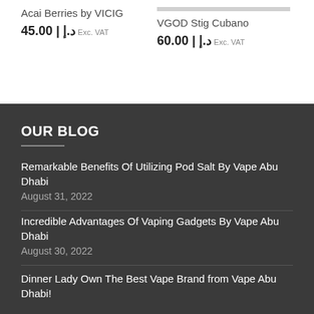Acai Berries by VICIG
45.00 د.إ Exc. VAT
VGOD Stig Cubano
60.00 د.إ Exc. VAT
OUR BLOG
Remarkable Benefits Of Utilizing Pod Salt By Vape Abu Dhabi
August 31, 2022
Incredible Advantages Of Vaping Gadgets By Vape Abu Dhabi
August 30, 2022
Dinner Lady Own The Best Vape Brand from Vape Abu Dhabi!